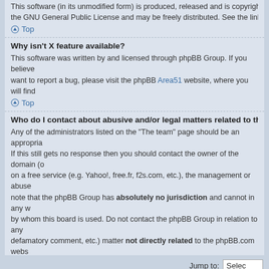This software (in its unmodified form) is produced, released and is copyright protected under the GNU General Public License and may be freely distributed. See the link for
Top
Why isn't X feature available?
This software was written by and licensed through phpBB Group. If you believe want to report a bug, please visit the phpBB Area51 website, where you will find
Top
Who do I contact about abusive and/or legal matters related to this board?
Any of the administrators listed on the “The team” page should be an appropria If this still gets no response then you should contact the owner of the domain (o on a free service (e.g. Yahoo!, free.fr, f2s.com, etc.), the management or abuse note that the phpBB Group has absolutely no jurisdiction and cannot in any w by whom this board is used. Do not contact the phpBB Group in relation to any defamatory comment, etc.) matter not directly related to the phpBB.com webs itself. If you do e-mail phpBB Group about any third party use of this software response or no response at all.
Top
Jump to:
Board index • The team • Powered by phpBB © 2000, 2002, 2005, 2007 phpBB